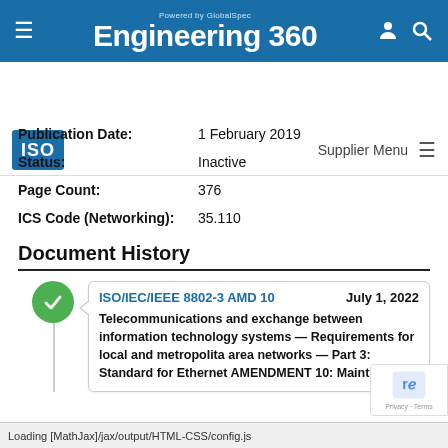Powered by GlobalSpec Engineering 360
Publication Date: 1 February 2019
Status: Inactive
Page Count: 376
ICS Code (Networking): 35.110
Document History
ISO/IEC/IEEE 8802-3 AMD 10   July 1, 2022
Telecommunications and exchange between information technology systems — Requirements for local and metropolitan area networks — Part 3: Standard for Ethernet AMENDMENT 10: Maintenance
Loading [MathJax]/jax/output/HTML-CSS/config.js